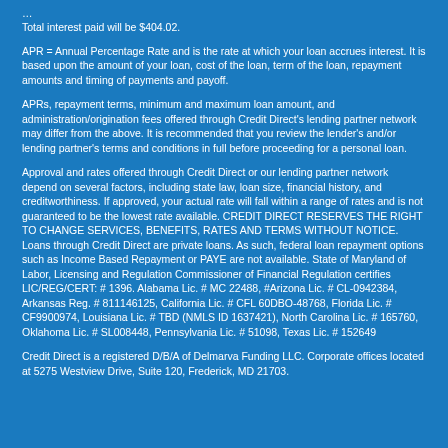Total interest paid will be $404.02.
APR = Annual Percentage Rate and is the rate at which your loan accrues interest. It is based upon the amount of your loan, cost of the loan, term of the loan, repayment amounts and timing of payments and payoff.
APRs, repayment terms, minimum and maximum loan amount, and administration/origination fees offered through Credit Direct's lending partner network may differ from the above. It is recommended that you review the lender's and/or lending partner's terms and conditions in full before proceeding for a personal loan.
Approval and rates offered through Credit Direct or our lending partner network depend on several factors, including state law, loan size, financial history, and creditworthiness. If approved, your actual rate will fall within a range of rates and is not guaranteed to be the lowest rate available. CREDIT DIRECT RESERVES THE RIGHT TO CHANGE SERVICES, BENEFITS, RATES AND TERMS WITHOUT NOTICE. Loans through Credit Direct are private loans. As such, federal loan repayment options such as Income Based Repayment or PAYE are not available. State of Maryland of Labor, Licensing and Regulation Commissioner of Financial Regulation certifies LIC/REG/CERT: # 1396. Alabama Lic. # MC 22488, #Arizona Lic. # CL-0942384, Arkansas Reg. # 811146125, California Lic. # CFL 60DBO-48768, Florida Lic. # CF9900974, Louisiana Lic. # TBD (NMLS ID 1637421), North Carolina Lic. # 165760, Oklahoma Lic. # SL008448, Pennsylvania Lic. # 51098, Texas Lic. # 152649
Credit Direct is a registered D/B/A of Delmarva Funding LLC. Corporate offices located at 5275 Westview Drive, Suite 120, Frederick, MD 21703.